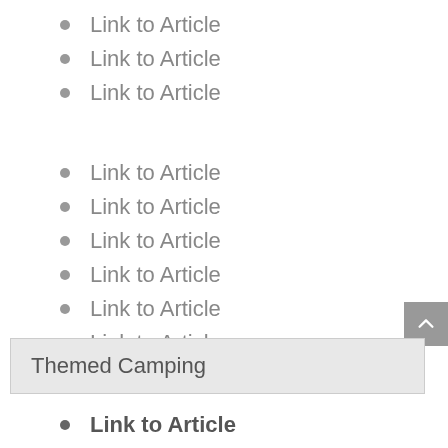Link to Article
Link to Article
Link to Article
Link to Article
Link to Article
Link to Article
Link to Article
Link to Article
Link to Article
Themed Camping
Link to Article
Link to Article
Link to Article